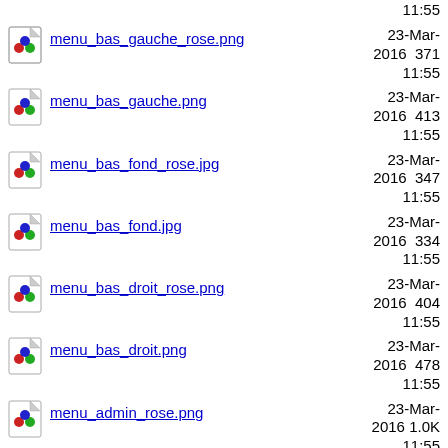menu_bas_gauche_rose.png  23-Mar-2016 11:55  371
menu_bas_gauche.png  23-Mar-2016 11:55  413
menu_bas_fond_rose.jpg  23-Mar-2016 11:55  347
menu_bas_fond.jpg  23-Mar-2016 11:55  334
menu_bas_droit_rose.png  23-Mar-2016 11:55  404
menu_bas_droit.png  23-Mar-2016 11:55  478
menu_admin_rose.png  23-Mar-2016 11:55  1.0K
menu_admin.png  23-Mar-2016 2016  261